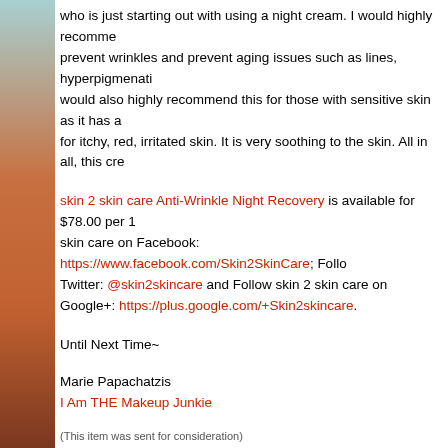who is just starting out with using a night cream. I would highly recommend to prevent wrinkles and prevent aging issues such as lines, hyperpigmentation. I would also highly recommend this for those with sensitive skin as it has a for itchy, red, irritated skin. It is very soothing to the skin. All in all, this cre
skin 2 skin care Anti-Wrinkle Night Recovery is available for $78.00 per 1 skin care on Facebook: https://www.facebook.com/Skin2SkinCare; Follow Twitter: @skin2skincare and Follow skin 2 skin care on Google+: https://plus.google.com/+Skin2skincare.
Until Next Time~
Marie Papachatzis
I Am THE Makeup Junkie
(This item was sent for consideration)